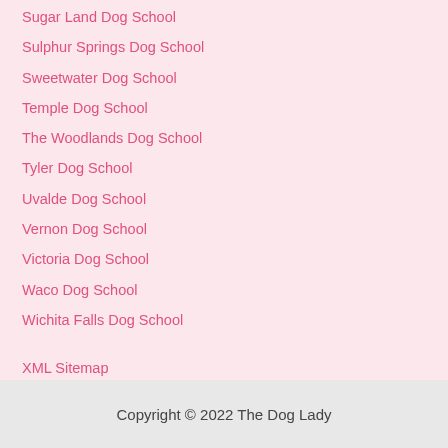Sugar Land Dog School
Sulphur Springs Dog School
Sweetwater Dog School
Temple Dog School
The Woodlands Dog School
Tyler Dog School
Uvalde Dog School
Vernon Dog School
Victoria Dog School
Waco Dog School
Wichita Falls Dog School
XML Sitemap
Copyright © 2022 The Dog Lady